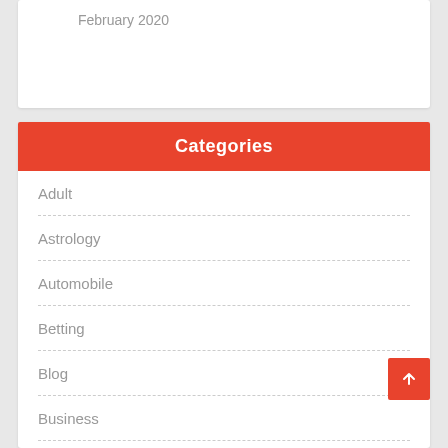February 2020
Categories
Adult
Astrology
Automobile
Betting
Blog
Business
Casino
Dating
Datting